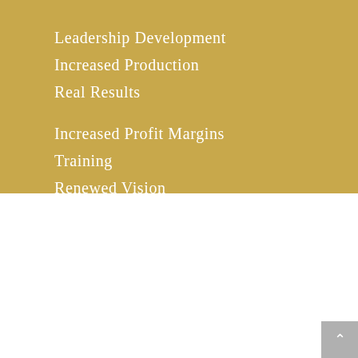Leadership Development
Increased Production
Real Results
Increased Profit Margins
Training
Renewed Vision
SERVICES
[Figure (illustration): Gold-outlined icon of a speaker at a podium with a presentation board]
SPEAKING
Ready to get your team or group fired up? Your audience will be